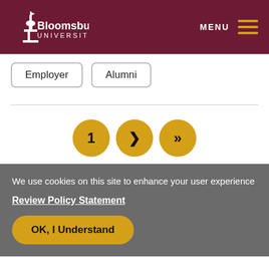Bloomsburg University — MENU
Employer
Alumni
1 > >>
We use cookies on this site to enhance your user experience
Review Policy Statement
OK, I Understand